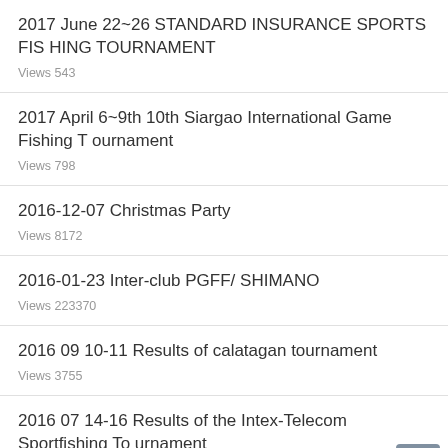2017 June 22~26 STANDARD INSURANCE SPORTS FISHING TOURNAMENT
Views 543
2017 April 6~9th 10th Siargao International Game Fishing Tournament
Views 798
2016-12-07 Christmas Party
Views 8172
2016-01-23 Inter-club PGFF/ SHIMANO
Views 223370
2016 09 10-11 Results of calatagan tournament
Views 3755
2016 07 14-16 Results of the Intex-Telecom Sportfishing Tournament